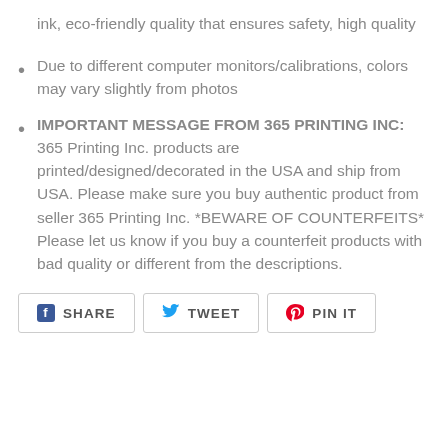ink, eco-friendly quality that ensures safety, high quality
Due to different computer monitors/calibrations, colors may vary slightly from photos
IMPORTANT MESSAGE FROM 365 PRINTING INC: 365 Printing Inc. products are printed/designed/decorated in the USA and ship from USA. Please make sure you buy authentic product from seller 365 Printing Inc. *BEWARE OF COUNTERFEITS* Please let us know if you buy a counterfeit products with bad quality or different from the descriptions.
SHARE  TWEET  PIN IT